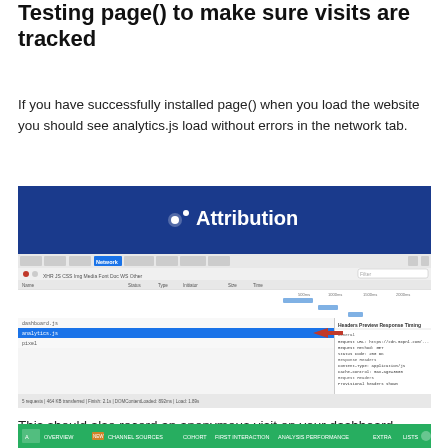Testing page() to make sure visits are tracked
If you have successfully installed page() when you load the website you should see analytics.js load without errors in the network tab.
[Figure (screenshot): Browser DevTools network tab showing analytics.js loaded, with an Attribution logo header and a red arrow pointing to an analytics.js network request entry.]
This should also record an anonymous visit on your dashboard within 10 - 15 minutes.
[Figure (screenshot): Attribution dashboard interface showing navigation bar with green background.]